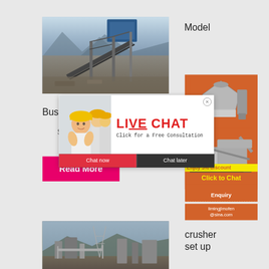Model
[Figure (photo): Industrial mining or quarrying site with conveyor belts, structural steel framework, and blue machinery against a mountain backdrop]
Bus
S
[Figure (photo): Live chat popup overlay showing workers in yellow hard hats with LIVE CHAT heading in red, subtitle Click for a Free Consultation, and Chat now / Chat later buttons]
[Figure (photo): Orange sidebar showing crusher machine images]
Enjoy 3% discount
Click to Chat
Enquiry
limingjlmofen@sina.com
Read More
crusher
set up
[Figure (photo): Outdoor industrial facility with pipes, buildings and mountainous terrain in the background]